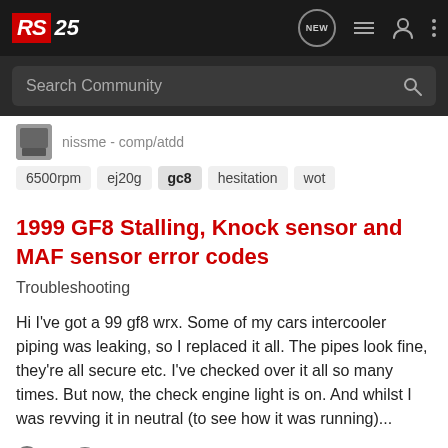RS25 navigation header with search bar
6500rpm  ej20g  gc8  hesitation  wot
1999 GF8 Stalling, Knock sensor and MAF sensor error codes
Troubleshooting
Hi I've got a 99 gf8 wrx. Some of my cars intercooler piping was leaking, so I replaced it all. The pipes look fine, they're all secure etc. I've checked over it all so many times. But now, the check engine light is on. And whilst I was revving it in neutral (to see how it was running)...
0  464
grongle · Sep 16, 2021